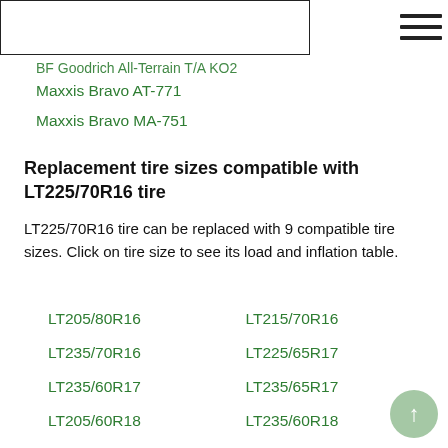BF Goodrich All-Terrain T/A KO2
Maxxis Bravo AT-771
Maxxis Bravo MA-751
Replacement tire sizes compatible with LT225/70R16 tire
LT225/70R16 tire can be replaced with 9 compatible tire sizes. Click on tire size to see its load and inflation table.
LT205/80R16
LT215/70R16
LT235/70R16
LT225/65R17
LT235/60R17
LT235/65R17
LT205/60R18
LT235/60R18
LT255/55R18